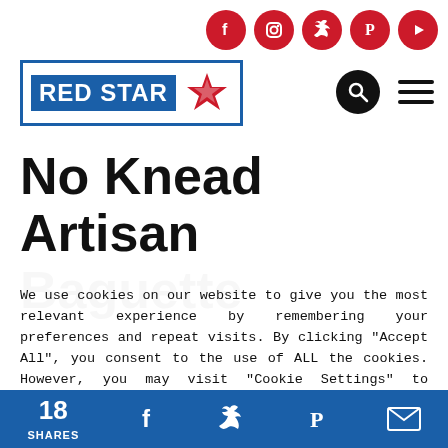[Figure (logo): Red Star Yeast logo: blue rectangle with 'RED STAR' text in white, adjacent white box with red star icon]
[Figure (infographic): Social media icons row: Facebook, Instagram, Twitter, Pinterest, YouTube — all red circles with white icons]
No Knead Artisan Baguette
We use cookies on our website to give you the most relevant experience by remembering your preferences and repeat visits. By clicking “Accept All”, you consent to the use of ALL the cookies. However, you may visit “Cookie Settings” to provide a controlled consent.
Cookie Settings   Accept All
18 SHARES